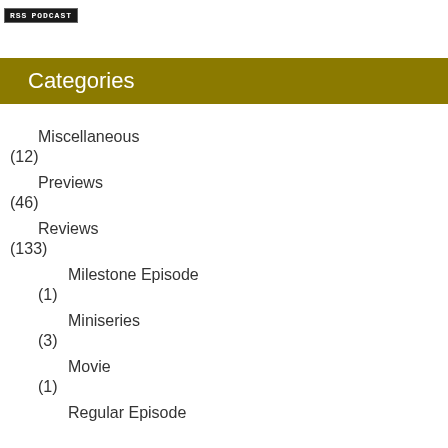[Figure (logo): RSS PODCAST badge/button with dark background and white text]
Categories
Miscellaneous
(12)
Previews
(46)
Reviews
(133)
Milestone Episode
(1)
Miniseries
(3)
Movie
(1)
Regular Episode